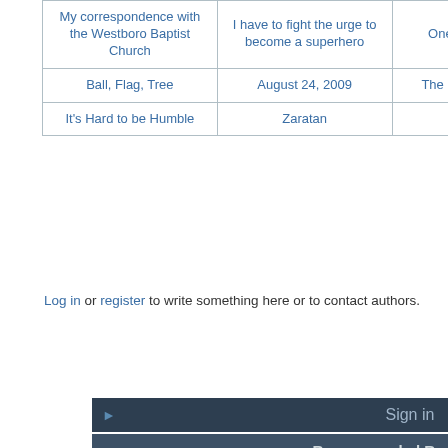|  |  |  |  |
| --- | --- | --- | --- |
| My correspondence with the Westboro Baptist Church | I have to fight the urge to become a superhero | One day at a time | Turtle |
| Ball, Flag, Tree | August 24, 2009 | The Beast of 'Busco | Dragon Turtle |
| It's Hard to be Humble | Zaratan | CalTrans | Little turtle legs |
Log in or register to write something here or to contact authors.
Sign in
Recommended Reading
About Everything2
User Picks
root log: August 2022
The Sandman
August 29, 2022
Cyberpunk
Zero Wing